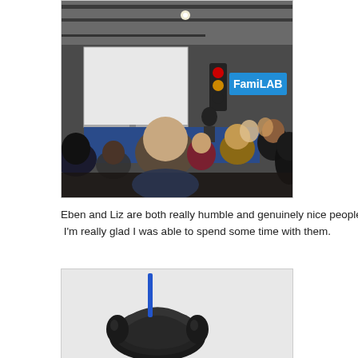[Figure (photo): Indoor event photo showing a crowd of people from behind watching a presenter at a FamiLAB event. There is a projection screen on the left, a traffic light in the middle, and a blue banner reading 'FamiLAB'. The presenter stands at a podium.]
Eben and Liz are both really humble and genuinely nice people. I'm really glad I was able to spend some time with them.
[Figure (photo): Close-up photo showing a dark object (possibly a Raspberry Pi or similar device) with a blue antenna or component sticking up, against a white background.]